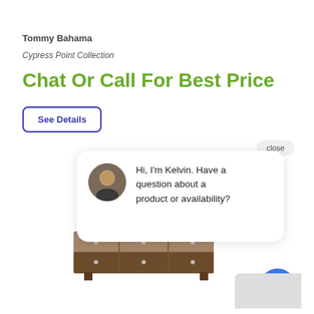Tommy Bahama
Cypress Point Collection
Chat Or Call For Best Price
See Details
[Figure (screenshot): Chat widget popup showing avatar of a man named Kelvin with text: Hi, I'm Kelvin. Have a question about a product or availability? with a close button and blue chat icon button, overlaid on a furniture image (dresser/sideboard).]